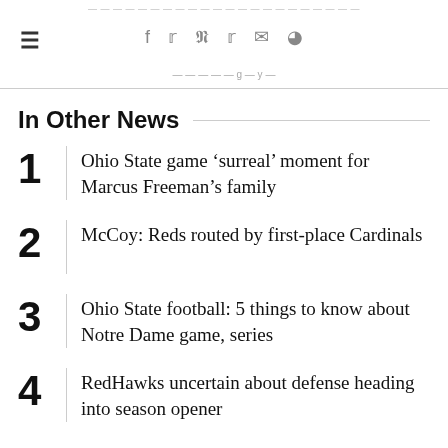In Other News
1 Ohio State game ‘surreal’ moment for Marcus Freeman’s family
2 McCoy: Reds routed by first-place Cardinals
3 Ohio State football: 5 things to know about Notre Dame game, series
4 RedHawks uncertain about defense heading into season opener